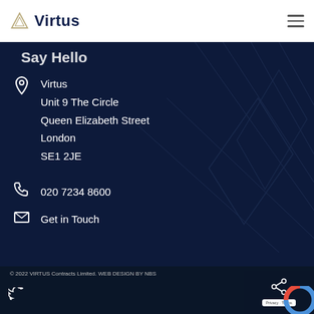Virtus
Say Hello
Virtus
Unit 9 The Circle
Queen Elizabeth Street
London
SE1 2JE
020 7234 8600
Get in Touch
© 2022 VIRTUS Contracts Limited. WEB DESIGN BY NBS